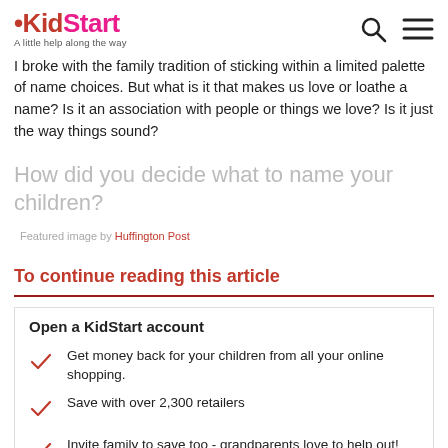KidStart – A little help along the way
I broke with the family tradition of sticking within a limited palette of name choices. But what is it that makes us love or loathe a name?  Is it an association with people or things we love? Is it just the way things sound?
How did you decide what to name your children?
Featured image by Huffington Post
To continue reading this article
Open a KidStart account
Get money back for your children from all your online shopping.
Save with over 2,300 retailers
Invite family to save too - grandparents love to help out!